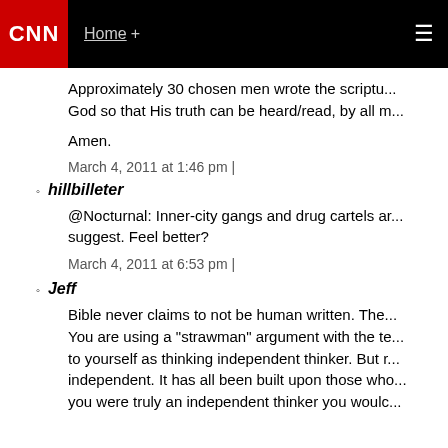CNN | Home +
Approximately 30 chosen men wrote the scriptu... God so that His truth can be heard/read, by all m...
Amen.
March 4, 2011 at 1:46 pm |
hillbilleter
@Nocturnal: Inner-city gangs and drug cartels ar... suggest. Feel better?
March 4, 2011 at 6:53 pm |
Jeff
Bible never claims to not be human written. The... You are using a "strawman" argument with the te... to yourself as thinking independent thinker. But r... independent. It has all been built upon those who... you were truly an independent thinker you woulc...